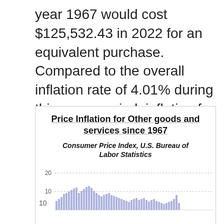year 1967 would cost $125,532.43 in 2022 for an equivalent purchase. Compared to the overall inflation rate of 4.01% during this same period, inflation for other goods and services was higher.
[Figure (bar-chart): Bar chart showing annual price inflation rate for Other goods and services since 1967, with y-axis labels at 10 and 20. Source: Consumer Price Index, U.S. Bureau of Labor Statistics.]